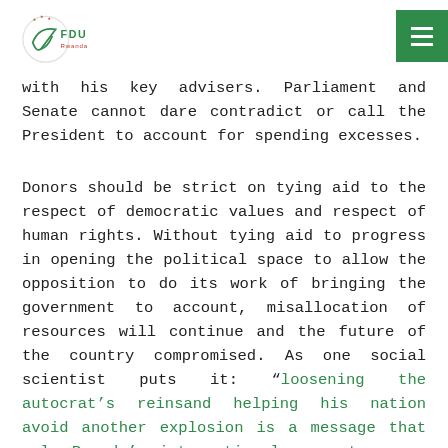FDU Rwanda
with his key advisers. Parliament and Senate cannot dare contradict or call the President to account for spending excesses.
Donors should be strict on tying aid to the respect of democratic values and respect of human rights. Without tying aid to progress in opening the political space to allow the opposition to do its work of bringing the government to account, misallocation of resources will continue and the future of the country compromised. As one social scientist puts it: “loosening the autocrat’s reinsand helping his nation avoid another explosion is a message that only Rwanda’s international supporters can deliver to